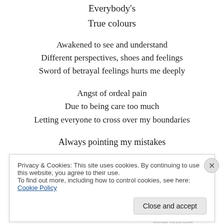Everybody's
True colours
Awakened to see and understand
Different perspectives, shoes and feelings
Sword of betrayal feelings hurts me deeply
Angst of ordeal pain
Due to being care too much
Letting everyone to cross over my boundaries
Always pointing my mistakes
Privacy & Cookies: This site uses cookies. By continuing to use this website, you agree to their use.
To find out more, including how to control cookies, see here: Cookie Policy